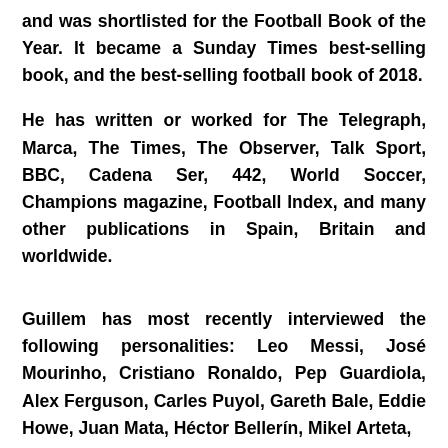and was shortlisted for the Football Book of the Year. It became a Sunday Times best-selling book, and the best-selling football book of 2018.
He has written or worked for The Telegraph, Marca, The Times, The Observer, Talk Sport, BBC, Cadena Ser, 442, World Soccer, Champions magazine, Football Index, and many other publications in Spain, Britain and worldwide.
Guillem has most recently interviewed the following personalities: Leo Messi, José Mourinho, Cristiano Ronaldo, Pep Guardiola, Alex Ferguson, Carles Puyol, Gareth Bale, Eddie Howe, Juan Mata, Héctor Bellerín, Mikel Arteta,